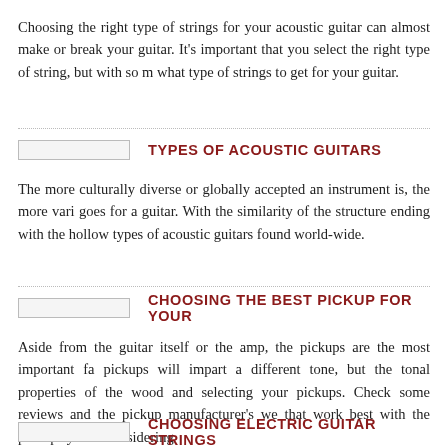Choosing the right type of strings for your acoustic guitar can almost make or break your guitar. It's important that you select the right type of string, but with so many options, it's hard to know what type of strings to get for your guitar.
TYPES OF ACOUSTIC GUITARS
The more culturally diverse or globally accepted an instrument is, the more variations it has. The same goes for a guitar. With the similarity of the structure ending with the hollow body, there are many types of acoustic guitars found world-wide.
CHOOSING THE BEST PICKUP FOR YOUR
Aside from the guitar itself or the amp, the pickups are the most important factor in your tone. Different pickups will impart a different tone, but the tonal properties of the wood and hardware are just as important in selecting your pickups. Check some reviews and the pickup manufacturer's website for recommended guitars that work best with the pickups you're considering
CHOOSING ELECTRIC GUITAR STRINGS